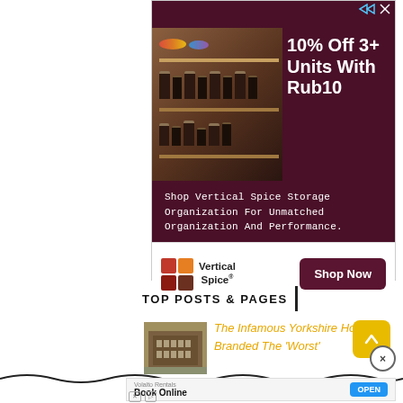[Figure (illustration): Advertisement banner for Vertical Spice with dark maroon background showing spice storage shelves, headline '10% Off 3+ Units With Rub10', subtext 'Shop Vertical Spice Storage Organization For Unmatched Organization And Performance.', logo and Shop Now button.]
TOP POSTS & PAGES
[Figure (photo): Thumbnail photo of an old stone building, presumably a Yorkshire hotel.]
The Infamous Yorkshire Hotel Branded The 'Worst'
[Figure (illustration): Bottom advertisement bar for Volalto Rentals - Book Online, with OPEN button.]